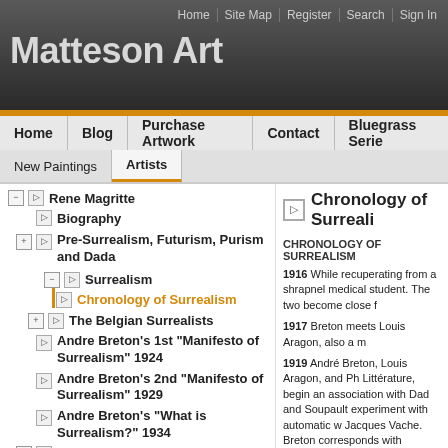Matteson Art
Home | Site Map | Register | Search | Sign In
Home | Blog | Purchase Artwork | Contact | Bluegrass Series
New Paintings | Artists
Rene Magritte
Biography
Pre-Surrealism, Futurism, Purism and Dada
Surrealism
Chronology of Surrealism
The Belgian Surrealists
Andre Breton's 1st "Manifesto of Surrealism" 1924
Andre Breton's 2nd "Manifesto of Surrealism" 1929
Andre Breton's "What is Surrealism?" 1934
Articles on Surrealism
Chronology of Surrealism
CHRONOLOGY OF SURREALISM
1916 While recuperating from a shrapnel medical student. The two become close f
1917 Breton meets Louis Aragon, also a m
1919 André Breton, Louis Aragon, and Ph Littérature, begin an association with Dad and Soupault experiment with automatic w Jacques Vache. Breton corresponds with
1920 Along with Tristan Tzara, Jean Arp a activities.
1921 Breton visits Sigmund Freud in Vie